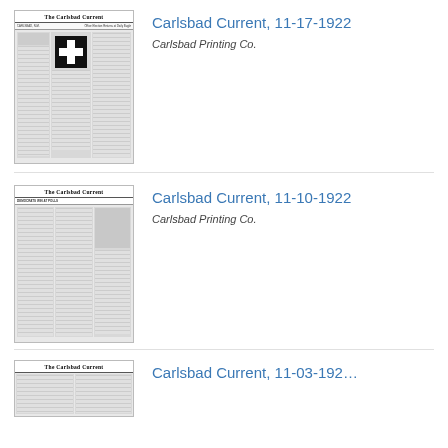[Figure (photo): Thumbnail of Carlsbad Current newspaper front page dated 11-17-1922, showing newspaper masthead and a cross symbol]
Carlsbad Current, 11-17-1922
Carlsbad Printing Co.
[Figure (photo): Thumbnail of Carlsbad Current newspaper front page dated 11-10-1922, showing newspaper masthead and headline DEMOCRATS WIN AT POLLS]
Carlsbad Current, 11-10-1922
Carlsbad Printing Co.
[Figure (photo): Thumbnail of Carlsbad Current newspaper front page dated 11-03-1922, partially visible]
Carlsbad Current, 11-03-192…